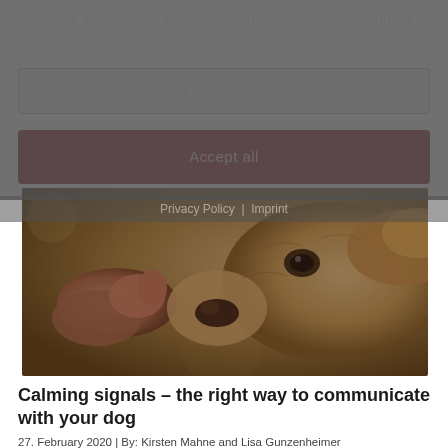essential, while others help us to improve this website and your experience.
Individual Privacy Preferences
Accept all
Privacy Policy | Imprint
[Figure (photo): Close-up photo of a dog sniffing or nuzzling a person's hand, warm outdoor lighting]
Calming signals – the right way to communicate with your dog
27. February 2020 | By: Kirsten Mahne and Lisa Gunzenheimer